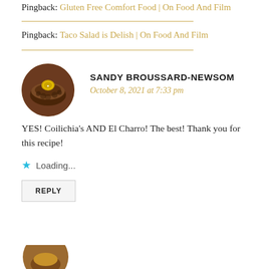Pingback: Gluten Free Comfort Food | On Food And Film
Pingback: Taco Salad is Delish | On Food And Film
[Figure (photo): Circular avatar image of Sandy Broussard-Newsom showing a bowl with a gold coin, brown textured food]
SANDY BROUSSARD-NEWSOM
October 8, 2021 at 7:33 pm
YES! Coilichia's AND El Charro! The best! Thank you for this recipe!
Loading...
REPLY
[Figure (photo): Partial circular avatar image visible at bottom of page]